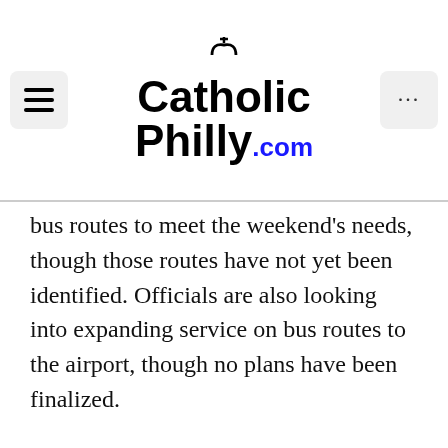CatholicPhilly.com
bus routes to meet the weekend's needs, though those routes have not yet been identified. Officials are also looking into expanding service on bus routes to the airport, though no plans have been finalized.